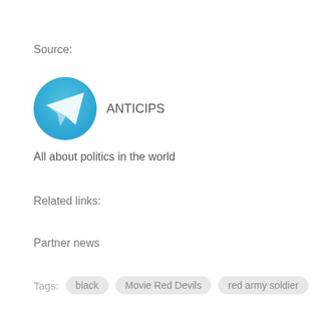Source:
[Figure (logo): Telegram app logo — blue circle with white paper plane icon — next to the channel name ANTICIPS]
All about politics in the world
Related links:
Partner news
Tags: black   Movie Red Devils   red army soldier